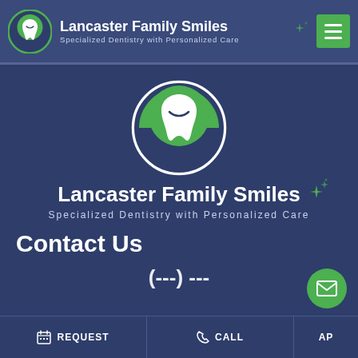Lancaster Family Smiles — Specialized Dentistry with Personalized Care
[Figure (logo): Lancaster Family Smiles tooth logo — white tooth outline on green circular background, inside dark navy circle ring]
Lancaster Family Smiles
Specialized Dentistry with Personalized Care
Contact Us
REQUEST | CALL | MAP